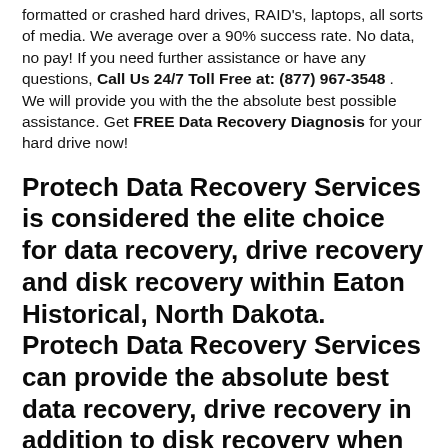formatted or crashed hard drives, RAID's, laptops, all sorts of media. We average over a 90% success rate. No data, no pay! If you need further assistance or have any questions, Call Us 24/7 Toll Free at: (877) 967-3548 . We will provide you with the the absolute best possible assistance. Get FREE Data Recovery Diagnosis for your hard drive now!
Protech Data Recovery Services is considered the elite choice for data recovery, drive recovery and disk recovery within Eaton Historical, North Dakota. Protech Data Recovery Services can provide the absolute best data recovery, drive recovery in addition to disk recovery when your hard drive crashes within Eaton Historical, North Dakota. Let the data recovery authorities of Eaton Historical, North Dakota recover your